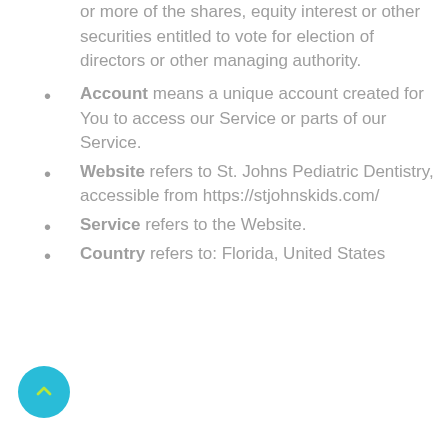or more of the shares, equity interest or other securities entitled to vote for election of directors or other managing authority.
Account means a unique account created for You to access our Service or parts of our Service.
Website refers to St. Johns Pediatric Dentistry, accessible from https://stjohnskids.com/
Service refers to the Website.
Country refers to: Florida, United States